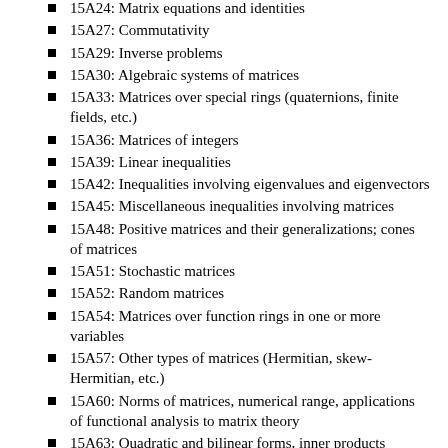15A24: Matrix equations and identities
15A27: Commutativity
15A29: Inverse problems
15A30: Algebraic systems of matrices
15A33: Matrices over special rings (quaternions, finite fields, etc.)
15A36: Matrices of integers
15A39: Linear inequalities
15A42: Inequalities involving eigenvalues and eigenvectors
15A45: Miscellaneous inequalities involving matrices
15A48: Positive matrices and their generalizations; cones of matrices
15A51: Stochastic matrices
15A52: Random matrices
15A54: Matrices over function rings in one or more variables
15A57: Other types of matrices (Hermitian, skew-Hermitian, etc.)
15A60: Norms of matrices, numerical range, applications of functional analysis to matrix theory
15A63: Quadratic and bilinear forms, inner products
15A66: Clifford algebras, spinors